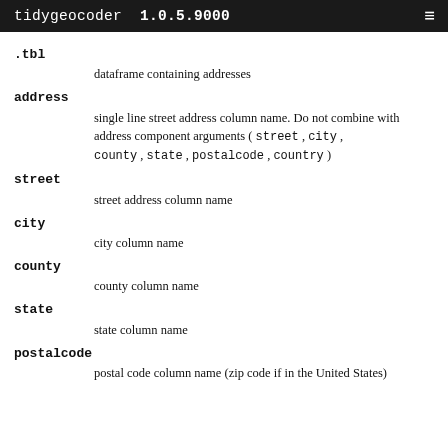tidygeocoder 1.0.5.9000
.tbl
  dataframe containing addresses
address
  single line street address column name. Do not combine with address component arguments ( street , city , county , state , postalcode , country )
street
  street address column name
city
  city column name
county
  county column name
state
  state column name
postalcode
  postal code column name (zip code if in the United States)